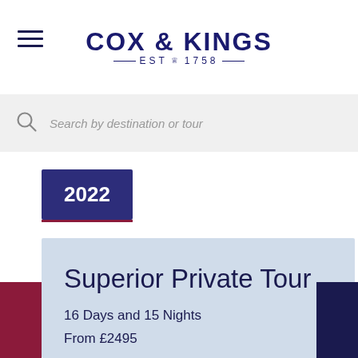[Figure (logo): Cox & Kings logo with EST 1758 text and crown emblem, dark navy color]
Search by destination or tour
2022
Superior Private Tour
16 Days and 15 Nights
From £2495